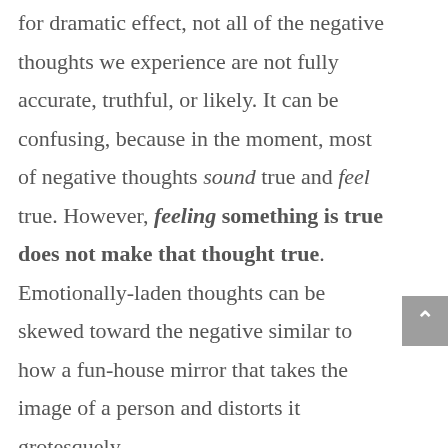for dramatic effect, not all of the negative thoughts we experience are not fully accurate, truthful, or likely. It can be confusing, because in the moment, most of negative thoughts sound true and feel true. However, feeling something is true does not make that thought true. Emotionally-laden thoughts can be skewed toward the negative similar to how a fun-house mirror that takes the image of a person and distorts it grotesquely.